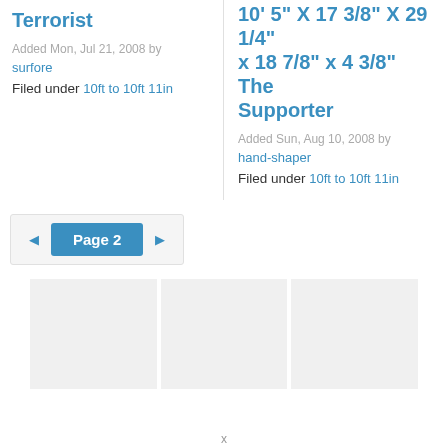Terrorist
Added Mon, Jul 21, 2008 by surfore
Filed under 10ft to 10ft 11in
10' 5" X 17 3/8" X 29 1/4" x 18 7/8" x 4 3/8" The Supporter
Added Sun, Aug 10, 2008 by hand-shaper
Filed under 10ft to 10ft 11in
Page 2